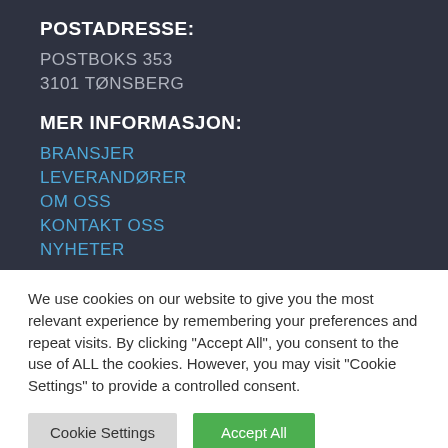POSTADRESSE:
POSTBOKS 353
3101 TØNSBERG
MER INFORMASJON:
BRANSJER
LEVERANDØRER
OM OSS
KONTAKT OSS
NYHETER
We use cookies on our website to give you the most relevant experience by remembering your preferences and repeat visits. By clicking "Accept All", you consent to the use of ALL the cookies. However, you may visit "Cookie Settings" to provide a controlled consent.
Cookie Settings | Accept All